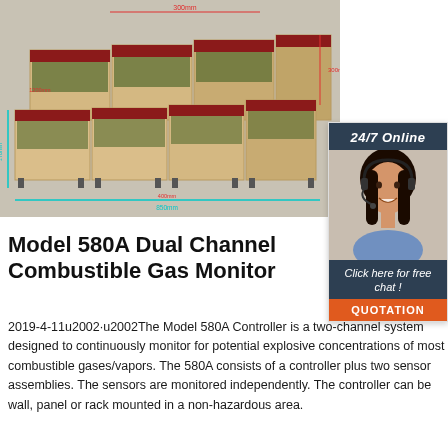[Figure (illustration): 3D render of modular wooden furniture/planter system with red/green top elements, shown with dimension annotations in red text]
[Figure (photo): 24/7 Online chat widget showing a smiling woman with headset, dark header, and orange QUOTATION button]
Model 580A Dual Channel Combustible Gas Monitor
2019-4-11u2002·u2002The Model 580A Controller is a two-channel system designed to continuously monitor for potential explosive concentrations of most combustible gases/vapors. The 580A consists of a controller plus two sensor assemblies. The sensors are monitored independently. The controller can be wall, panel or rack mounted in a non-hazardous area.